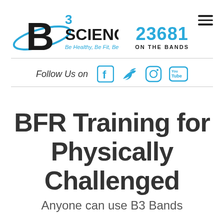[Figure (logo): B3 Sciences logo with large bold B, superscript 3, SCIENCES text, and tagline 'Be Healthy, Be Fit, Be Strong' in cyan, with oval orbit graphic around the B]
23681
ON THE BANDS
Follow Us on
[Figure (illustration): Social media icons: Facebook, Twitter, Instagram, YouTube in cyan color]
BFR Training for Physically Challenged
Anyone can use B3 Bands